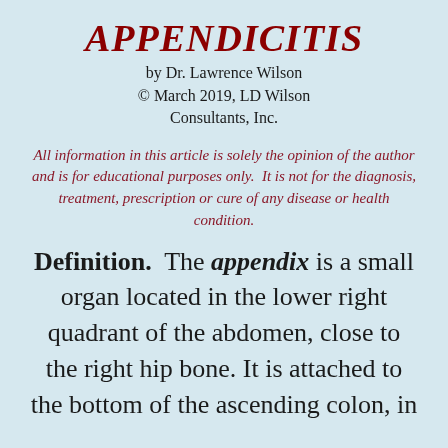APPENDICITIS
by Dr. Lawrence Wilson
© March 2019, LD Wilson Consultants, Inc.
All information in this article is solely the opinion of the author and is for educational purposes only. It is not for the diagnosis, treatment, prescription or cure of any disease or health condition.
Definition. The appendix is a small organ located in the lower right quadrant of the abdomen, close to the right hip bone. It is attached to the bottom of the ascending colon, in